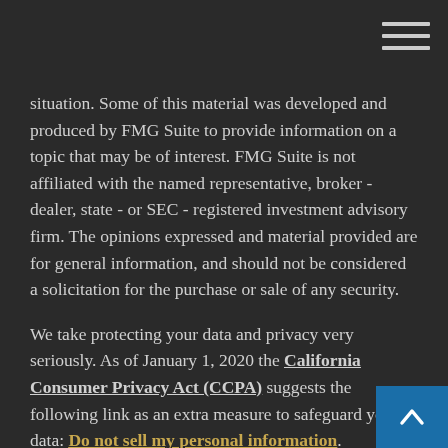situation. Some of this material was developed and produced by FMG Suite to provide information on a topic that may be of interest. FMG Suite is not affiliated with the named representative, broker - dealer, state - or SEC - registered investment advisory firm. The opinions expressed and material provided are for general information, and should not be considered a solicitation for the purchase or sale of any security.
We take protecting your data and privacy very seriously. As of January 1, 2020 the California Consumer Privacy Act (CCPA) suggests the following link as an extra measure to safeguard your data: Do not sell my personal information.
Copyright 2022 FMG Suite.
LPL Registered Representatives offer Securities and Advisory